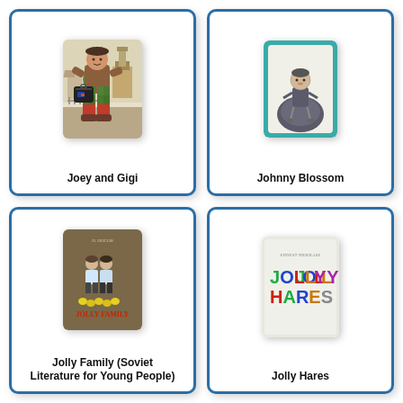[Figure (illustration): Book cover of 'Joey and Gigi' showing a colorful illustrated figure of a large person in checkered pants carrying luggage, with European town buildings in the background]
Joey and Gigi
[Figure (illustration): Book cover of 'Johnny Blossom' showing a pencil sketch of a boy sitting on a large round object, teal/turquoise border frame]
Johnny Blossom
[Figure (illustration): Book cover of 'Jolly Family (Soviet Literature for Young People)' - brown cover showing two children figures with yellow items at their feet and red text 'JOLLY FAMILY' at bottom]
Jolly Family (Soviet Literature for Young People)
[Figure (illustration): Book cover of 'Jolly Hares' - light gray/cream cover with colorful text spelling 'JOLLY HARES' in multicolored letters]
Jolly Hares